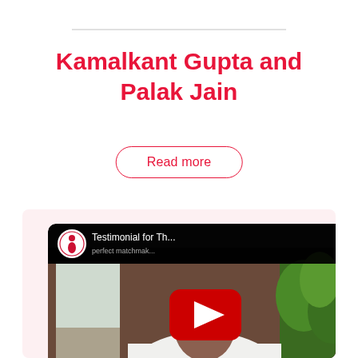Kamalkant Gupta and Palak Jain
Read more
[Figure (screenshot): Embedded YouTube video thumbnail showing a man in a white shirt with the title 'Testimonial for Th...' and a red YouTube play button overlay. A circular logo appears in the top-left of the video player.]